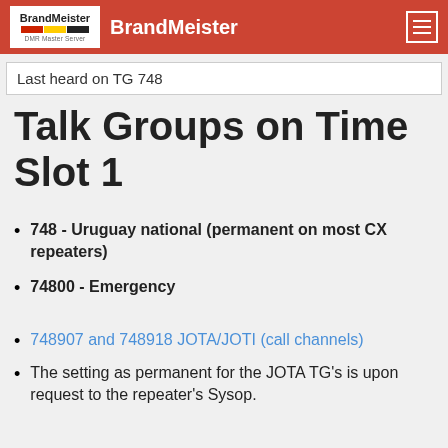BrandMeister
Last heard on TG 748
Talk Groups on Time Slot 1
748 - Uruguay national (permanent on most CX repeaters)
74800 - Emergency
748907 and 748918 JOTA/JOTI (call channels)
The setting as permanent for the JOTA TG's is upon request to the repeater's Sysop.